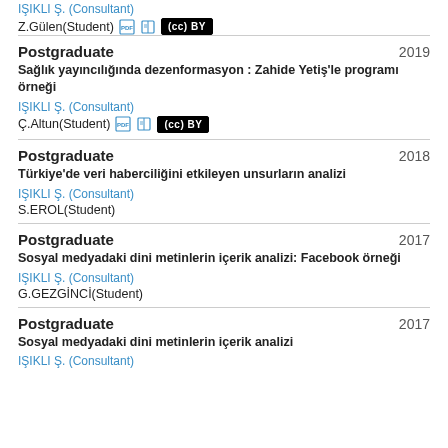IŞIKLI Ş. (Consultant)
Z.Gülen(Student)
Postgraduate 2019
Sağlık yayıncılığında dezenformasyon : Zahide Yetiş'le programı örneği
IŞIKLI Ş. (Consultant)
Ç.Altun(Student)
Postgraduate 2018
Türkiye'de veri haberciliğini etkileyen unsurların analizi
IŞIKLI Ş. (Consultant)
S.EROL(Student)
Postgraduate 2017
Sosyal medyadaki dini metinlerin içerik analizi: Facebook örneği
IŞIKLI Ş. (Consultant)
G.GEZGİNCİ(Student)
Postgraduate 2017
Sosyal medyadaki dini metinlerin içerik analizi
IŞIKLI Ş. (Consultant)